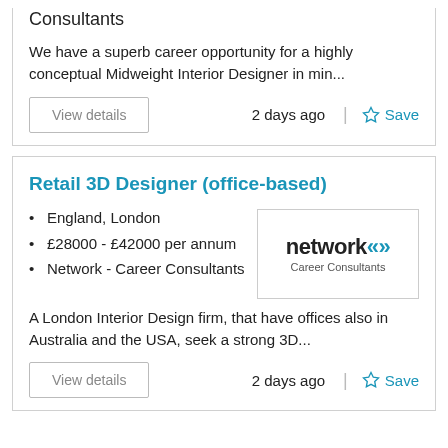Consultants
We have a superb career opportunity for a highly conceptual Midweight Interior Designer in min...
View details
2 days ago
Save
Retail 3D Designer (office-based)
England, London
£28000 - £42000 per annum
Network - Career Consultants
[Figure (logo): Network Career Consultants logo with chevron arrows]
A London Interior Design firm, that have offices also in Australia and the USA, seek a strong 3D...
View details
2 days ago
Save